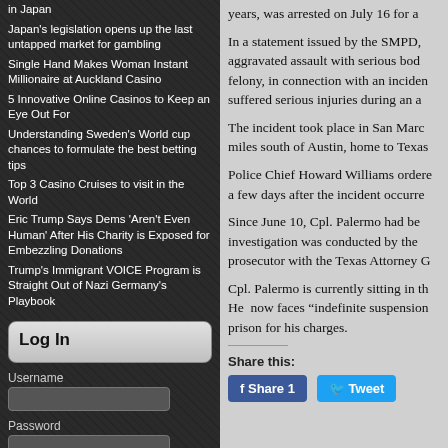in Japan
Japan's legislation opens up the last untapped market for gambling
Single Hand Makes Woman Instant Millionaire at Auckland Casino
5 Innovative Online Casinos to Keep an Eye Out For
Understanding Sweden's World cup chances to formulate the best betting tips
Top 3 Casino Cruises to visit in the World
Eric Trump Says Dems 'Aren't Even Human' After His Charity is Exposed for Embezzling Donations
Trump's Immigrant VOICE Program is Straight Out of Nazi Germany's Playbook
Log In
Username
Password
Remember Me
Log In
years, was arrested on July 16 for a
In a statement issued by the SMPD, aggravated assault with serious bod felony, in connection with an inciden suffered serious injuries during an a
The incident took place in San Marc miles south of Austin, home to Texas
Police Chief Howard Williams ordere a few days after the incident occurre
Since June 10, Cpl. Palermo had be investigation was conducted by the prosecutor with the Texas Attorney G
Cpl. Palermo is currently sitting in th He now faces "indefinite suspension prison for his charges.
Share this:
Share 1
Tweet